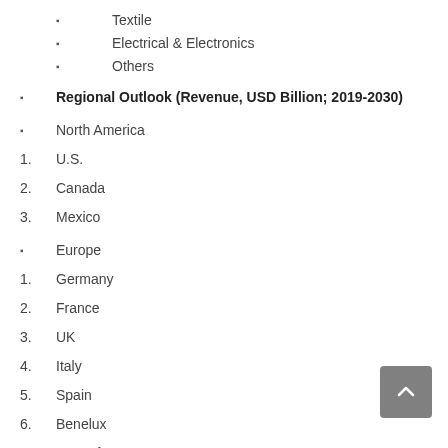Textile
Electrical & Electronics
Others
Regional Outlook (Revenue, USD Billion; 2019-2030)
North America
U.S.
Canada
Mexico
Europe
Germany
France
UK
Italy
Spain
Benelux
Rest of Europe